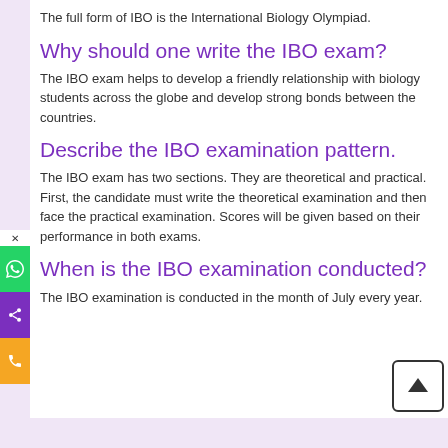The full form of IBO is the International Biology Olympiad.
Why should one write the IBO exam?
The IBO exam helps to develop a friendly relationship with biology students across the globe and develop strong bonds between the countries.
Describe the IBO examination pattern.
The IBO exam has two sections. They are theoretical and practical. First, the candidate must write the theoretical examination and then face the practical examination. Scores will be given based on their performance in both exams.
When is the IBO examination conducted?
The IBO examination is conducted in the month of July every year.